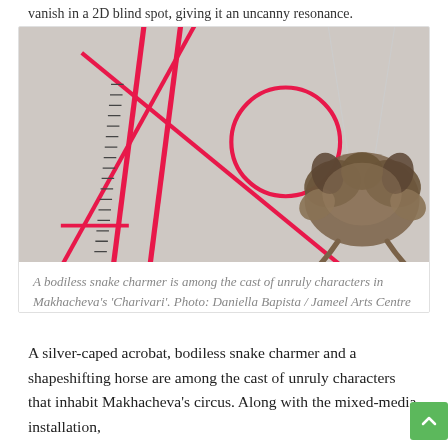vanish in a 2D blind spot, giving it an uncanny resonance.
[Figure (photo): An art installation photograph showing pink/red geometric lines and structures against a white wall on the left, and a suspended sculpture of a coiled snake shaped like a bodiless figure hanging from thin wires on the right. The snake appears symmetrically arranged.]
A bodiless snake charmer is among the cast of unruly characters in Makhacheva's 'Charivari'. Photo: Daniella Bapista / Jameel Arts Centre
A silver-caped acrobat, bodiless snake charmer and a shapeshifting horse are among the cast of unruly characters that inhabit Makhacheva's circus. Along with the mixed-media installation,